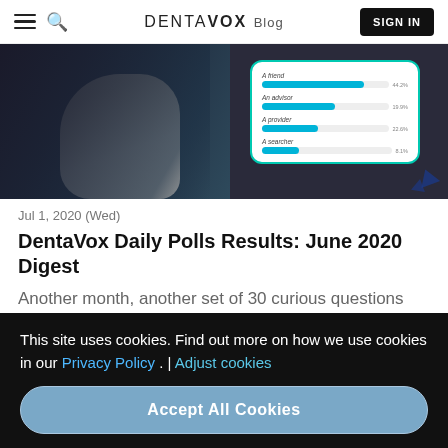DENTAVOX Blog | SIGN IN
[Figure (photo): Hero image showing a person in a white coat gesturing toward a digital survey chart with horizontal bars on a white card with teal border, set against a dark background]
Jul 1, 2020 (Wed)
DentaVox Daily Polls Results: June 2020 Digest
Another month, another set of 30 curious questions we asked daily to 100 people. Now it's
This site uses cookies. Find out more on how we use cookies in our Privacy Policy . | Adjust cookies
Accept All Cookies